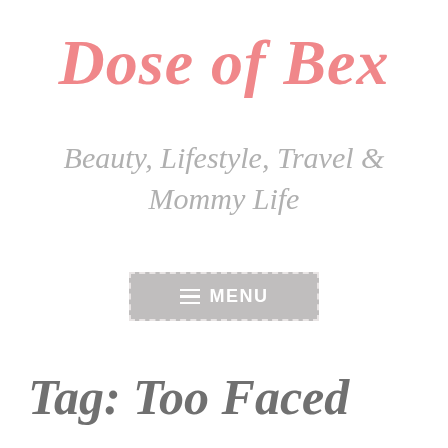Dose of Bex
Beauty, Lifestyle, Travel & Mommy Life
≡ MENU
Tag: Too Faced